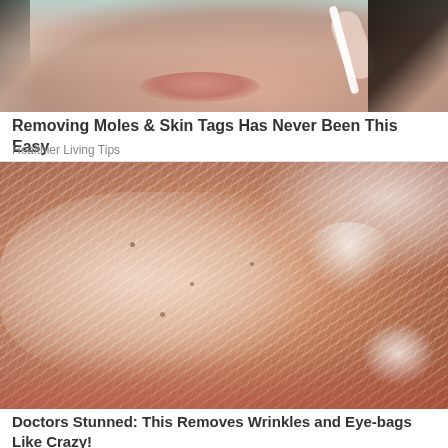[Figure (photo): Close-up photo of a woman's lower face and hand holding a white stick/applicator near her lips, with dark hair visible, on a white background.]
Removing Moles & Skin Tags Has Never Been This Easy
Healthier Living Tips
[Figure (photo): Close-up photo of a person's face covered in a white creamy skin mask/peel with textured striations visible across the cheek, nose, and lower face area.]
Doctors Stunned: This Removes Wrinkles and Eye-bags Like Crazy!